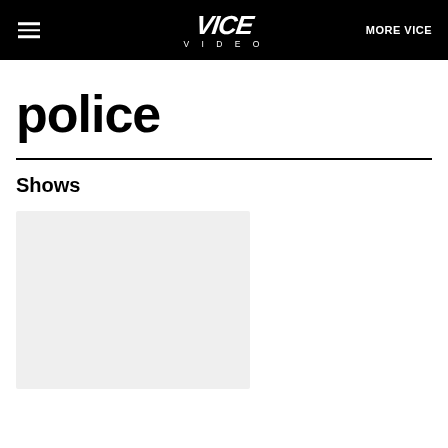VICE VIDEO — MORE VICE
police
Shows
[Figure (other): Light gray rectangular thumbnail placeholder image for a show]